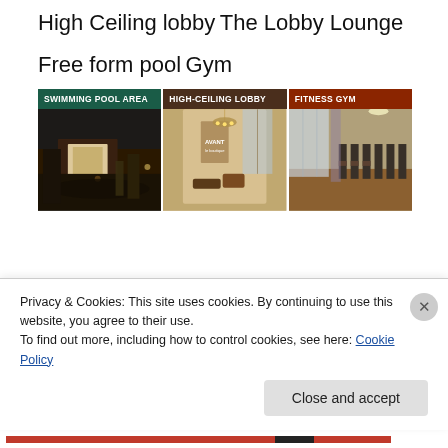High Ceiling lobby
The Lobby Lounge
Free form pool
Gym
[Figure (photo): Three hotel facility photos side by side: Swimming Pool Area (night pool scene), High-Ceiling Lobby (hotel lobby with AVANT logo), and Fitness Gym (gym equipment room)]
Privacy & Cookies: This site uses cookies. By continuing to use this website, you agree to their use.
To find out more, including how to control cookies, see here: Cookie Policy